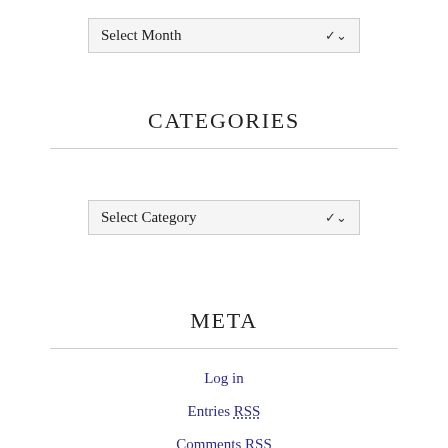[Figure (screenshot): Dropdown selector showing 'Select Month' with a chevron arrow on the right, styled with a light gray background and border]
CATEGORIES
[Figure (screenshot): Dropdown selector showing 'Select Category' with a chevron arrow on the right, styled with a light gray background and border]
META
Log in
Entries RSS
Comments RSS
WordPress.org